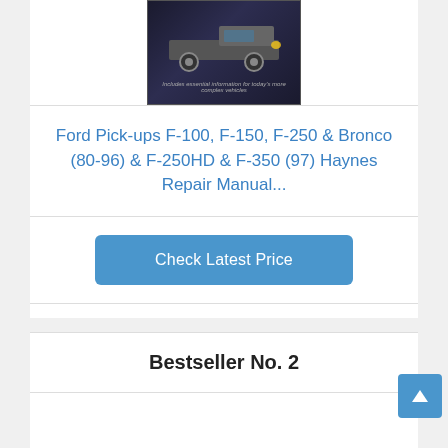[Figure (photo): Book cover of Ford Pick-ups Haynes Repair Manual showing a dark background with a truck image]
Ford Pick-ups F-100, F-150, F-250 & Bronco (80-96) & F-250HD & F-350 (97) Haynes Repair Manual...
Check Latest Price
Bestseller No. 2
[Figure (photo): Book cover image placeholder for Ford Super Duty Haynes Repair Manual]
Ford Super Duty Pick-up & Excursion for Ford